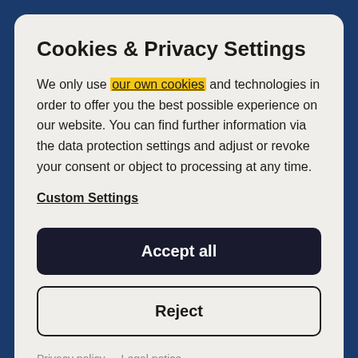Cookies & Privacy Settings
We only use our own cookies and technologies in order to offer you the best possible experience on our website. You can find further information via the data protection settings and adjust or revoke your consent or object to processing at any time.
Custom Settings
Accept all
Reject
Privacy policy   Legal notice
details?